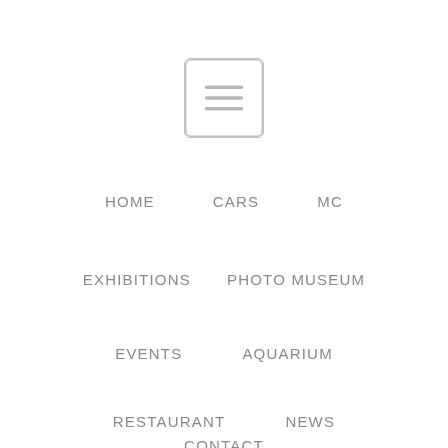[Figure (other): Hamburger menu icon: a rounded rectangle with three horizontal lines]
HOME
CARS
MC
EXHIBITIONS
PHOTO MUSEUM
EVENTS
AQUARIUM
RESTAURANT
NEWS
CONTACT